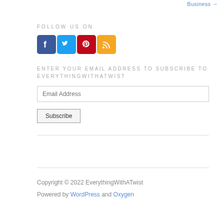Business →
FOLLOW US ON
[Figure (infographic): Social media icons for Facebook, Twitter, Pinterest, and RSS feed]
ENTER YOUR EMAIL ADDRESS TO SUBSCRIBE TO EVERYTHINGWITHATWIST
Email Address
Subscribe
Copyright © 2022 EverythingWithATwist
Powered by WordPress and Oxygen